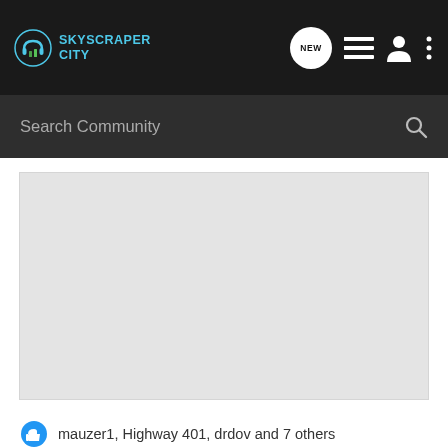SkyscraperCity - New | List | Profile | Menu
Search Community
[Figure (photo): Large grey placeholder image area representing a city or community photo]
mauzer1, Highway 401, drdov and 7 others